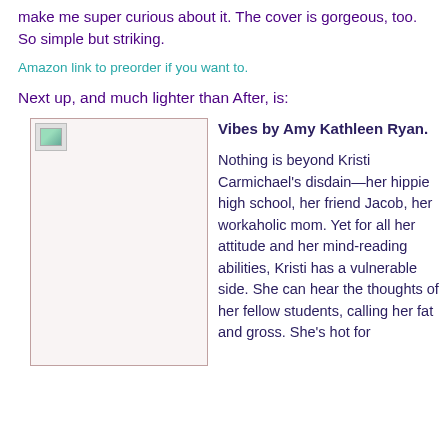make me super curious about it. The cover is gorgeous, too. So simple but striking.
Amazon link to preorder if you want to.
Next up, and much lighter than After, is:
[Figure (photo): Book cover image placeholder (broken image icon)]
Vibes by Amy Kathleen Ryan.

Nothing is beyond Kristi Carmichael's disdain—her hippie high school, her friend Jacob, her workaholic mom. Yet for all her attitude and her mind-reading abilities, Kristi has a vulnerable side. She can hear the thoughts of her fellow students, calling her fat and gross. She's hot for